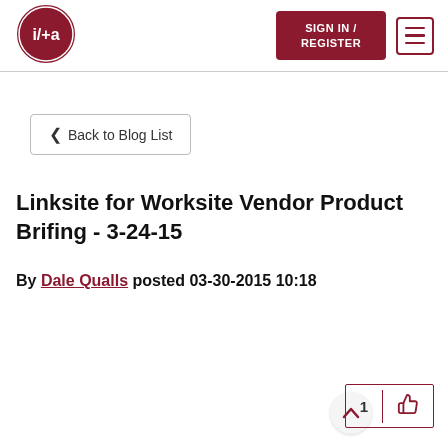i/+a logo | SIGN IN / REGISTER | hamburger menu
< Back to Blog List
Linksite for Worksite Vendor Product Brifing - 3-24-15
By Dale Qualls posted 03-30-2015 10:18
1 | thumbs up icon